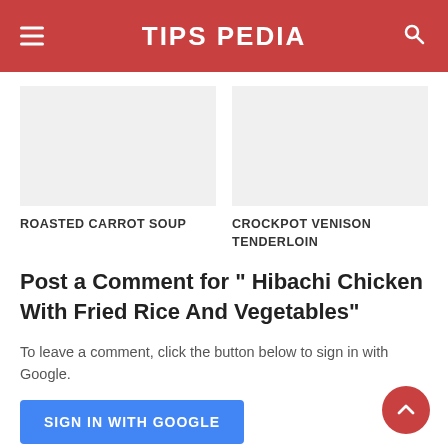TIPS PEDIA
ROASTED CARROT SOUP
CROCKPOT VENISON TENDERLOIN
Post a Comment for " Hibachi Chicken With Fried Rice And Vegetables"
To leave a comment, click the button below to sign in with Google.
SIGN IN WITH GOOGLE